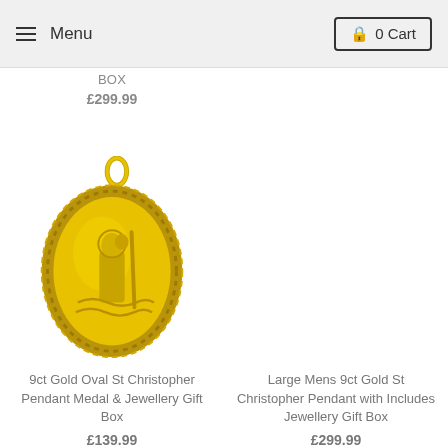Menu | 0 Cart
BOX
£299.99
[Figure (photo): 9ct Gold Oval St Christopher Pendant Medal with diamond-cut border on a ring bail, gold coloured]
9ct Gold Oval St Christopher Pendant Medal & Jewellery Gift Box
£139.99
Large Mens 9ct Gold St Christopher Pendant with Includes Jewellery Gift Box
£299.99